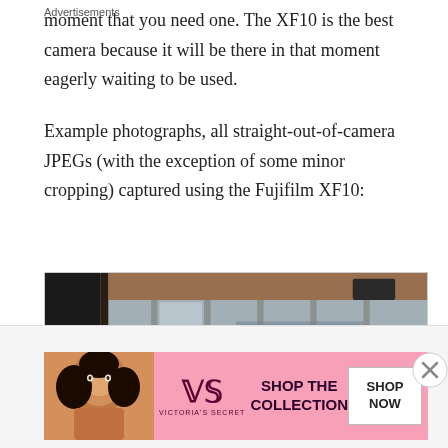moment that you need one. The XF10 is the best camera because it will be there in that moment eagerly waiting to be used.
Example photographs, all straight-out-of-camera JPEGs (with the exception of some minor cropping) captured using the Fujifilm XF10:
[Figure (photo): Interior photograph showing large glass windows/doors with reflections, captured with Fujifilm XF10]
Advertisements
[Figure (photo): Victoria's Secret advertisement banner with model, VS logo, 'SHOP THE COLLECTION' text and 'SHOP NOW' button]